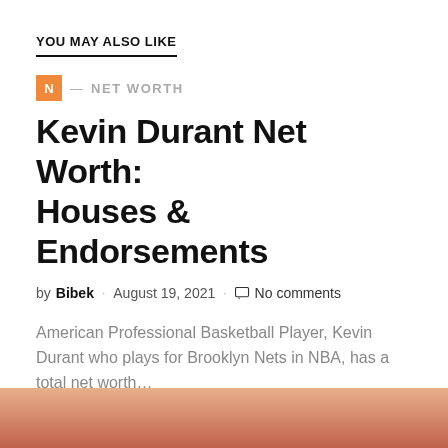YOU MAY ALSO LIKE
N — NET WORTH
Kevin Durant Net Worth: Houses & Endorsements
by Bibek · August 19, 2021 · No comments
American Professional Basketball Player, Kevin Durant who plays for Brooklyn Nets in NBA, has a total net worth...
N — NET WORTH